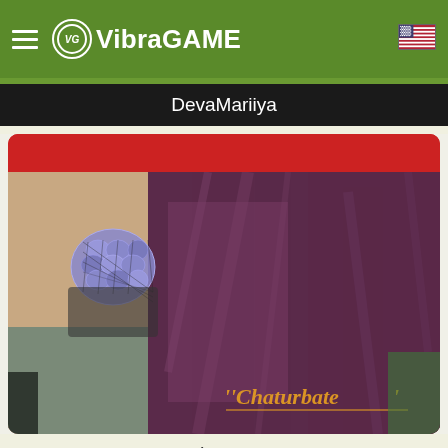VibraGAME
DevaMariiya
[Figure (screenshot): Webcam stream screenshot showing a person in a purple satin robe with a Chaturbate watermark in the bottom right corner]
taimoney